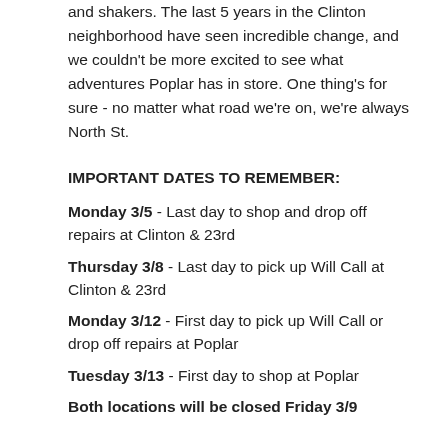and shakers. The last 5 years in the Clinton neighborhood have seen incredible change, and we couldn't be more excited to see what adventures Poplar has in store. One thing's for sure - no matter what road we're on, we're always North St.
IMPORTANT DATES TO REMEMBER:
Monday 3/5 - Last day to shop and drop off repairs at Clinton & 23rd
Thursday 3/8 - Last day to pick up Will Call at Clinton & 23rd
Monday 3/12 - First day to pick up Will Call or drop off repairs at Poplar
Tuesday 3/13 - First day to shop at Poplar
Both locations will be closed Friday 3/9